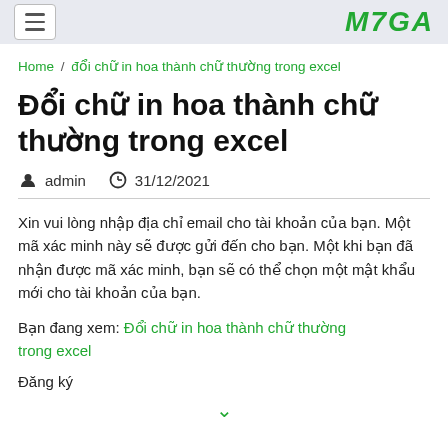M7GA
Home / đổi chữ in hoa thành chữ thường trong excel
Đổi chữ in hoa thành chữ thường trong excel
admin  31/12/2021
Xin vui lòng nhập địa chỉ email cho tài khoản của bạn. Một mã xác minh này sẽ được gửi đến cho bạn. Một khi bạn đã nhận được mã xác minh, bạn sẽ có thể chọn một mật khẩu mới cho tài khoản của bạn.
Bạn đang xem: Đổi chữ in hoa thành chữ thường trong excel
Đăng ký